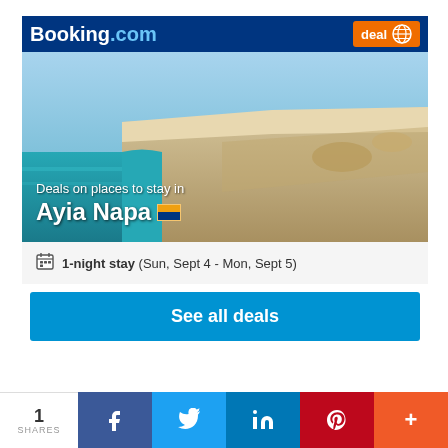[Figure (screenshot): Booking.com advertisement widget showing deals for Ayia Napa. Dark blue header with Booking.com logo and orange 'deal' badge. Hero image of coastal cliffs with turquoise sea. Text overlay: 'Deals on places to stay in Ayia Napa'. Info row: '1-night stay (Sun, Sept 4 - Mon, Sept 5)'. Blue CTA button: 'See all deals'.]
[Figure (screenshot): Social share bar at bottom: '1 SHARES' count box, then Facebook, Twitter, LinkedIn, Pinterest, and More (+) buttons in respective brand colors.]